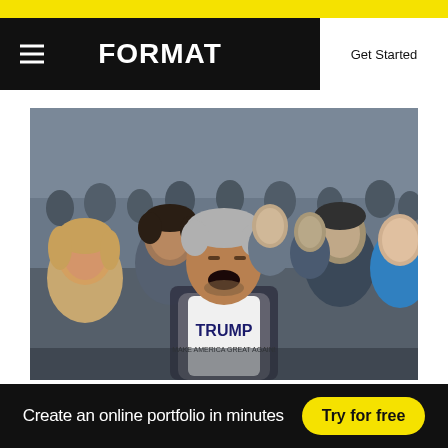FORMAT | Get Started
[Figure (photo): Crowd scene at a political rally; a man in the center wearing a Trump 'Make America Great Again' t-shirt shouts with his mouth wide open, surrounded by a dense crowd of people]
Create an online portfolio in minutes
Try for free